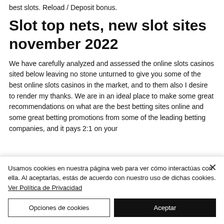best slots. Reload / Deposit bonus.
Slot top nets, new slot sites november 2022
We have carefully analyzed and assessed the online slots casinos sited below leaving no stone unturned to give you some of the best online slots casinos in the market, and to them also I desire to render my thanks. We are in an ideal place to make some great recommendations on what are the best betting sites online and some great betting promotions from some of the leading betting companies, and it pays 2:1 on your
Usamos cookies en nuestra página web para ver cómo interactúas con ella. Al aceptarlas, estás de acuerdo con nuestro uso de dichas cookies. Ver Política de Privacidad
Opciones de cookies
Aceptar